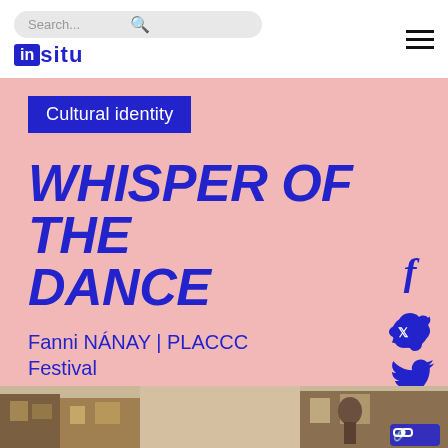Search... | in situ
Cultural identity
WHISPER OF THE DANCE
Fanni NÁNAY | PLACCC Festival
10/04/2018
[Figure (photo): Street scene photograph at the bottom of the page, showing an alley or narrow street with buildings and a person visible.]